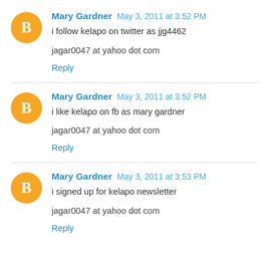Mary Gardner May 3, 2011 at 3:52 PM
i follow kelapo on twitter as jjg4462
jagar0047 at yahoo dot com
Reply
Mary Gardner May 3, 2011 at 3:52 PM
i like kelapo on fb as mary gardner
jagar0047 at yahoo dot com
Reply
Mary Gardner May 3, 2011 at 3:53 PM
i signed up for kelapo newsletter
jagar0047 at yahoo dot com
Reply